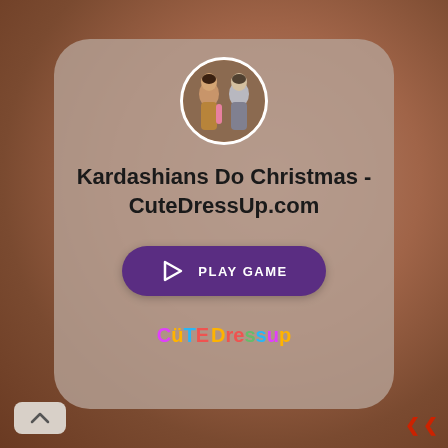[Figure (illustration): Rounded card UI with game thumbnail, title, play button, and CuteDressUp logo]
Kardashians Do Christmas - CuteDressUp.com
[Figure (other): Purple play game button with triangle play icon]
[Figure (logo): CuteDressUp colorful logo text]